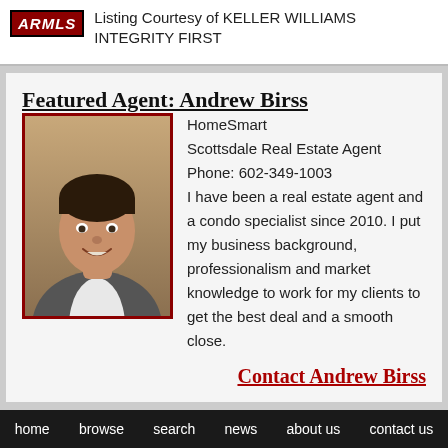ARMLS Listing Courtesy of KELLER WILLIAMS INTEGRITY FIRST
Featured Agent: Andrew Birss
[Figure (photo): Headshot of Andrew Birss, a man in a grey suit smiling at the camera]
HomeSmart
Scottsdale Real Estate Agent
Phone: 602-349-1003

I have been a real estate agent and a condo specialist since 2010. I put my business background, professionalism and market knowledge to work for my clients to get the best deal and a smooth close.
Contact Andrew Birss
home   browse   search   news   about us   contact us